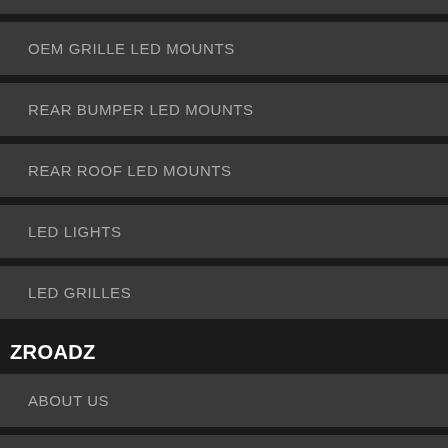OEM GRILLE LED MOUNTS
REAR BUMPER LED MOUNTS
REAR ROOF LED MOUNTS
LED LIGHTS
LED GRILLES
ZROADZ
ABOUT US
ZROADZ NEWS
ZROADZ PATENTS
OTO GALLERY